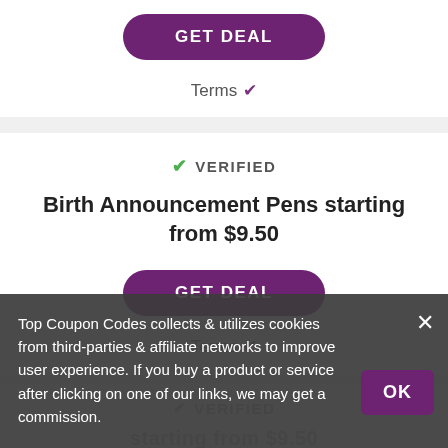[Figure (screenshot): GET DEAL button (purple pill) for first deal card]
Terms ✓
✓ VERIFIED
Birth Announcement Pens starting from $9.50
[Figure (screenshot): GET DEAL button (purple pill) for Birth Announcement Pens deal]
Terms ✓
✓ VERIFIED (partially visible, third card)
Top Coupon Codes collects & utilizes cookies from third-parties & affiliate networks to improve user experience. If you buy a product or service after clicking on one of our links, we may get a commission.